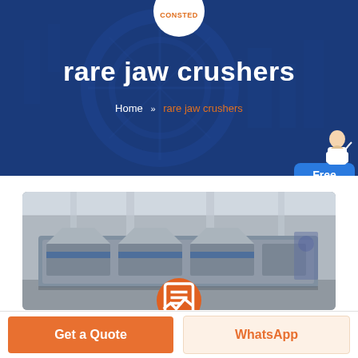CONSTED
rare jaw crushers
Home » rare jaw crushers
[Figure (photo): Industrial jaw crushers in a factory warehouse, showing large heavy equipment on a factory floor with structural columns in the background]
Get a Quote
WhatsApp